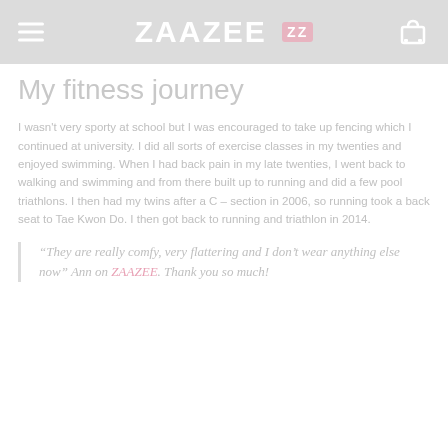ZAAZEE ZZ
My fitness journey
I wasn't very sporty at school but I was encouraged to take up fencing which I continued at university. I did all sorts of exercise classes in my twenties and enjoyed swimming. When I had back pain in my late twenties, I went back to walking and swimming and from there built up to running and did a few pool triathlons. I then had my twins after a C – section in 2006, so running took a back seat to Tae Kwon Do. I then got back to running and triathlon in 2014.
“They are really comfy, very flattering and I don’t wear anything else now” Ann on ZAAZEE. Thank you so much!